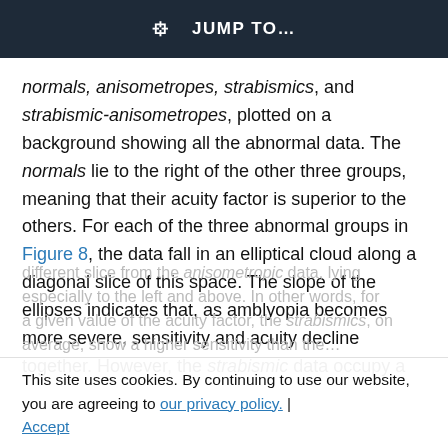JUMP TO…
normals, anisometropes, strabismics, and strabismic-anisometropes, plotted on a background showing all the abnormal data. The normals lie to the right of the other three groups, meaning that their acuity factor is superior to the others. For each of the three abnormal groups in Figure 8, the data fall in an elliptical cloud along a diagonal slice of this space. The slope of the ellipses indicates that, as amblyopia becomes more severe, sensitivity and acuity decline together. However, the strabismic data occupy a different slice from the anisometropic data, lying especially to the left and above. In other words, for a given value of the acuity factor, the strabismics, on average, show a higher sensitivity than the…
This site uses cookies. By continuing to use our website, you are agreeing to our privacy policy. | Accept